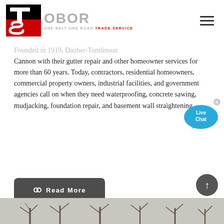OBOR - ONE BELT ONE ROAD TRADE SERVICE
Founded in 1919, Dauber-Tomlinson Cannon with their gutter repair and other homeowner services for more than 60 years. Today, contractors, residential homeowners, commercial property owners, industrial facilities, and government agencies call on when they need waterproofing, concrete sawing, mudjacking, foundation repair, and basement wall straightening.
[Figure (other): Live Chat bubble overlay icon in blue]
Read More
[Figure (photo): Outdoor photo of trees without leaves, winter scene]